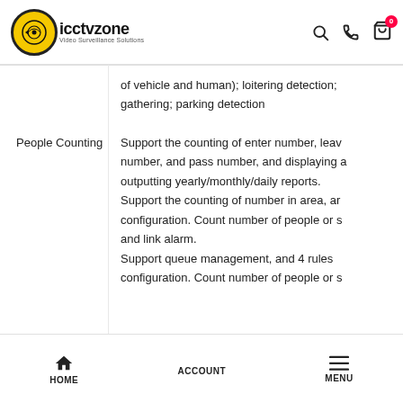icctvzone - Video Surveillance Solutions
of vehicle and human); loitering detection; gathering; parking detection
People Counting
Support the counting of enter number, leave number, and pass number, and displaying and outputting yearly/monthly/daily reports. Support the counting of number in area, and configuration. Count number of people or s and link alarm. Support queue management, and 4 rules configuration. Count number of people or s
HOME  ACCOUNT  MENU